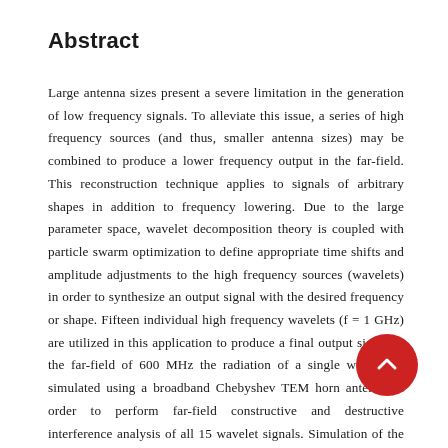Abstract
Large antenna sizes present a severe limitation in the generation of low frequency signals. To alleviate this issue, a series of high frequency sources (and thus, smaller antenna sizes) may be combined to produce a lower frequency output in the far-field. This reconstruction technique applies to signals of arbitrary shapes in addition to frequency lowering. Due to the large parameter space, wavelet decomposition theory is coupled with particle swarm optimization to define appropriate time shifts and amplitude adjustments to the high frequency sources (wavelets) in order to synthesize an output signal with the desired frequency or shape. Fifteen individual high frequency wavelets (f = 1 GHz) are utilized in this application to produce a final output signal in the far-field of 600 MHz the radiation of a single wavelet is simulated using a broadband Chebyshev TEM horn antenna in order to perform far-field constructive and destructive interference analysis of all 15 wavelet signals. Simulation of the TEM horn antenna shows reasonable wavelet signal fidelity with minimal reflections from the antenna aperture as the pulse is propagated to the far-field. Examination of the